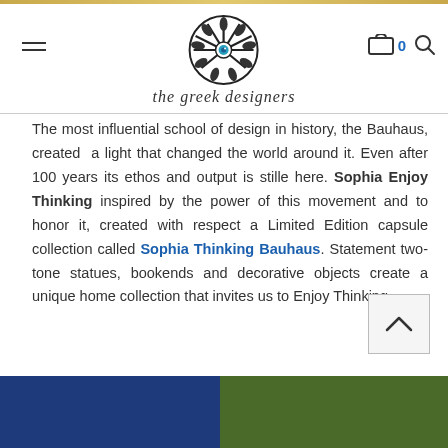the greek designers
The most influential school of design in history, the Bauhaus, created a light that changed the world around it. Even after 100 years its ethos and output is stille here. Sophia Enjoy Thinking inspired by the power of this movement and to honor it, created with respect a Limited Edition capsule collection called Sophia Thinking Bauhaus. Statement two-tone statues, bookends and decorative objects create a unique home collection that invites us to Enjoy Thinking.
[Figure (other): Bottom section showing two color blocks: dark navy blue on the left and dark olive green on the right]